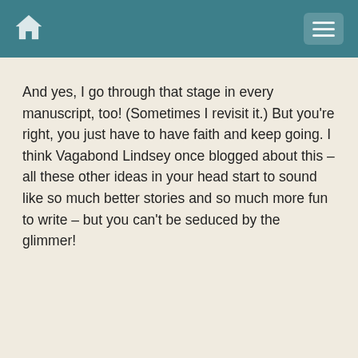And yes, I go through that stage in every manuscript, too! (Sometimes I revisit it.) But you're right, you just have to have faith and keep going. I think Vagabond Lindsey once blogged about this – all these other ideas in your head start to sound like so much better stories and so much more fun to write – but you can't be seduced by the glimmer!
Tessa
Comment 6 · March 31st, 2009 at 7:07 pm ·
Link
[Figure (photo): Circular profile photo of a smiling woman with blonde hair against a green background]
@terrio: Ooh, all kinds of